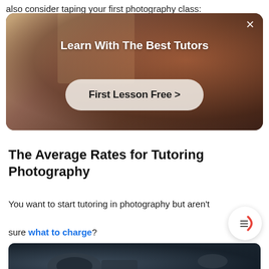also consider taping your first photography class:
[Figure (photo): Promotional banner with person in red top against warm-toned background, showing 'Learn With The Best Tutors' heading and 'First Lesson Free >' button with close X icon]
The Average Rates for Tutoring Photography
You want to start tutoring in photography but aren't sure what to charge?
[Figure (photo): Close-up photo of camera lens equipment, dark tones, sepia/monochrome style]